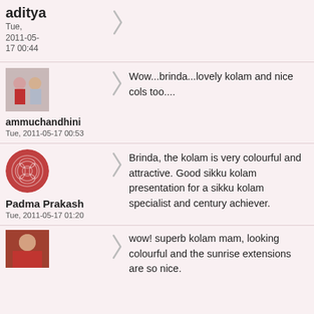aditya
Tue, 2011-05-17 00:44
[Figure (photo): Avatar photo of couple (man and woman)]
ammuchandhini
Tue, 2011-05-17 00:53
Wow...brinda...lovely kolam and nice cols too....
[Figure (illustration): Circular decorative kolam pattern avatar in red/pink tones]
Padma Prakash
Tue, 2011-05-17 01:20
Brinda, the kolam is very colourful and attractive. Good sikku kolam presentation for a sikku kolam specialist and century achiever.
[Figure (photo): Avatar photo of a woman in red saree]
wow! superb kolam mam, looking colourful and the sunrise extensions are so nice.